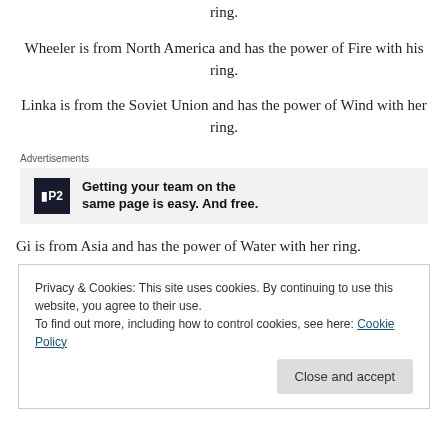ring.
Wheeler is from North America and has the power of Fire with his ring.
Linka is from the Soviet Union and has the power of Wind with her ring.
[Figure (other): Advertisement box with P2 logo and text: Getting your team on the same page is easy. And free.]
Gi is from Asia and has the power of Water with her ring.
Privacy & Cookies: This site uses cookies. By continuing to use this website, you agree to their use.
To find out more, including how to control cookies, see here: Cookie Policy